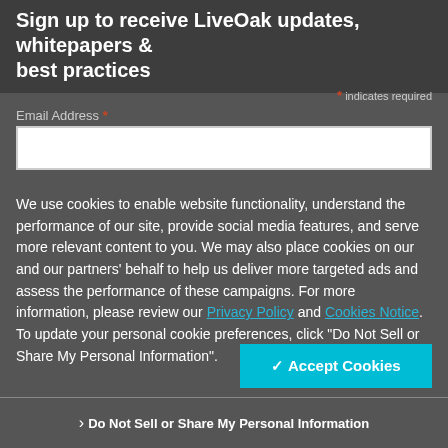Sign up to receive LiveOak updates, whitepapers & best practices
* indicates required
Email Address *
We use cookies to enable website functionality, understand the performance of our site, provide social media features, and serve more relevant content to you. We may also place cookies on our and our partners' behalf to help us deliver more targeted ads and assess the performance of these campaigns. For more information, please review our Privacy Policy and Cookies Notice. To update your personal cookie preferences, click "Do Not Sell or Share My Personal Information".
✓ Accept Cookies
❯ Do Not Sell or Share My Personal Information